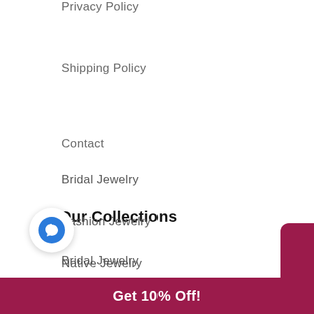Privacy Policy
Shipping Policy
Contact
Our Collections
Bridal Jewelry
Fashion Jewelry
Native Jewelry
rware & Flatware
[Figure (other): Side tab button with text 'Give your friends a gift!' in dark red/maroon color with white vertical text]
[Figure (other): Blue circular chat bubble icon]
Get 10% Off!